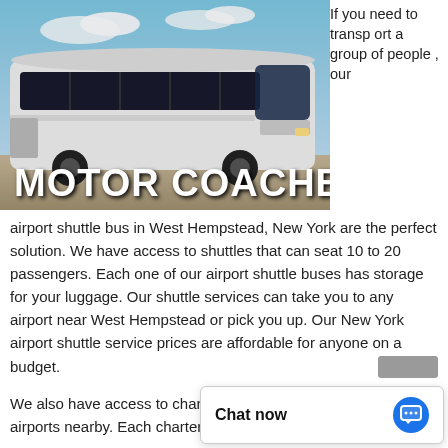[Figure (photo): A white motor coach bus parked outdoors with blue sky background. Large white bold text 'MOTOR COACHES' overlaid at the bottom of the image.]
If you need to transport a group of people, our airport shuttle bus in West Hempstead, New York are the perfect solution. We have access to shuttles that can seat 10 to 20 passengers. Each one of our airport shuttle buses has storage for your luggage. Our shuttle services can take you to any airport near West Hempstead or pick you up. Our New York airport shuttle service prices are affordable for anyone on a budget.
We also have access to charter buses that service all major airports nearby. Each charter bus can seat 50 to 57